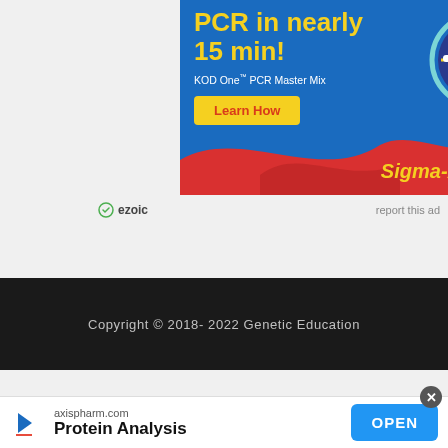[Figure (illustration): Sigma-Aldrich advertisement for KOD One PCR Master Mix. Blue background with yellow bold text 'PCR in nearly 15 min!', subtitle 'KOD One™ PCR Master Mix', a yellow 'Learn How' button, a clock illustration on the right, red wave at bottom, and 'Sigma-Aldrich.' branding in yellow italic text.]
⊘ ezoic    report this ad
Copyright © 2018- 2022 Genetic Education
[Figure (illustration): Bottom ad bar: axis pharm.com, Protein Analysis, with OPEN button in blue.]